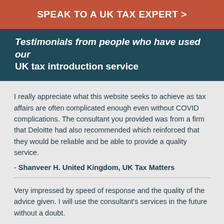SPEAK TO A UK TAX EXPERT >
Testimonials from people who have used our UK tax introduction service
I really appreciate what this website seeks to achieve as tax affairs are often complicated enough even without COVID complications. The consultant you provided was from a firm that Deloitte had also recommended which reinforced that they would be reliable and be able to provide a quality service.
- Shanveer H. United Kingdom, UK Tax Matters
Very impressed by speed of response and the quality of the advice given. I will use the consultant's services in the future without a doubt.
- Ian W. Spain, Statutory Residence Test